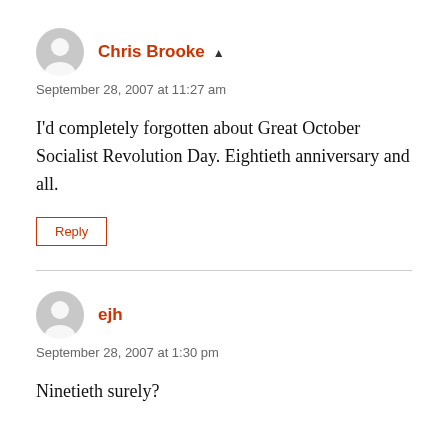Chris Brooke
September 28, 2007 at 11:27 am
I'd completely forgotten about Great October Socialist Revolution Day. Eightieth anniversary and all.
Reply
ejh
September 28, 2007 at 1:30 pm
Ninetieth surely?